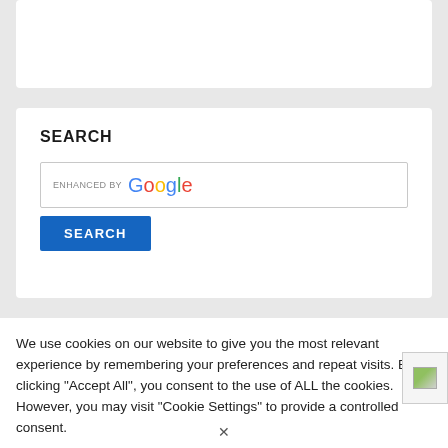[Figure (screenshot): Top white card area, empty content region]
SEARCH
[Figure (screenshot): Search input box with 'enhanced by Google' text]
[Figure (screenshot): Blue SEARCH button]
We use cookies on our website to give you the most relevant experience by remembering your preferences and repeat visits. By clicking “Accept All”, you consent to the use of ALL the cookies. However, you may visit "Cookie Settings" to provide a controlled consent.
[Figure (screenshot): Cookie settings button (gray) and Accept All button (green)]
[Figure (screenshot): Small image thumbnail in bottom right corner]